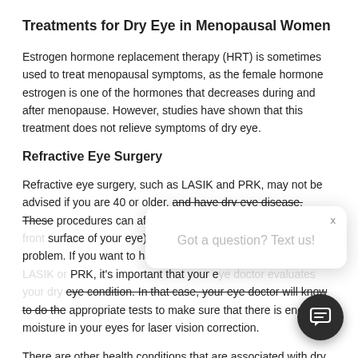Treatments for Dry Eye in Menopausal Women
Estrogen hormone replacement therapy (HRT) is sometimes used to treat menopausal symptoms, as the female hormone estrogen is one of the hormones that decreases during and after menopause. However, studies have shown that this treatment does not relieve symptoms of dry eye.
Refractive Eye Surgery
Refractive eye surgery, such as LASIK and PRK, may not be advised if you are 40 or older, and have dry eye disease. These procedures can affect nerve fibers (in the cornea, the front surface of your eye), which could make the dry eye problem worse. If you want to have refractive eye surgery, such as LASIK or PRK, it's important that your eye doctor evaluates your dry eye condition. In that case, your eye doctor will know to do the appropriate tests to make sure that there is enough moisture in your eyes for laser vision correction.
There are other health conditions that are associated with dry